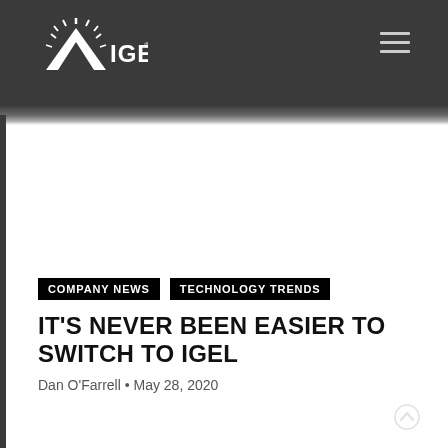IGEL — website header with logo and navigation menu
COMPANY NEWS
TECHNOLOGY TRENDS
IT'S NEVER BEEN EASIER TO SWITCH TO IGEL
Dan O'Farrell • May 28, 2020